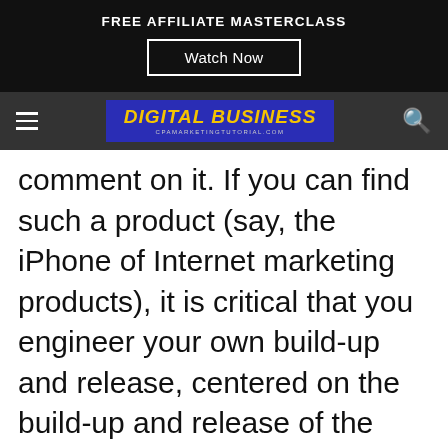FREE AFFILIATE MASTERCLASS
Watch Now
DIGITAL BUSINESS cpamarketingtutorial.com
comment on it. If you can find such a product (say, the iPhone of Internet marketing products), it is critical that you engineer your own build-up and release, centered on the build-up and release of the product. You will want to make sure that your list members purchase from you, rather than from